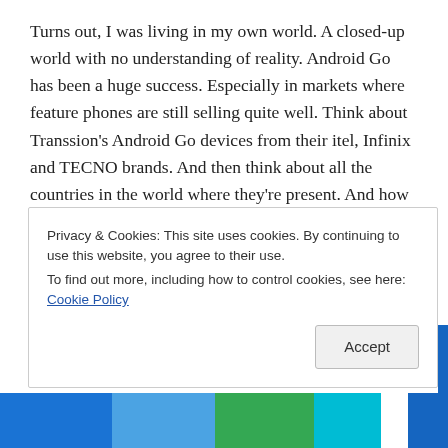Turns out, I was living in my own world. A closed-up world with no understanding of reality. Android Go has been a huge success. Especially in markets where feature phones are still selling quite well. Think about Transsion's Android Go devices from their itel, Infinix and TECNO brands. And then think about all the countries in the world where they're present. And how many sub-$100 they could have sold just last year.
Google, as any company would, still wants much of this market – the next billion users. So it is making changes to Android Go.
Privacy & Cookies: This site uses cookies. By continuing to use this website, you agree to their use.
To find out more, including how to control cookies, see here: Cookie Policy